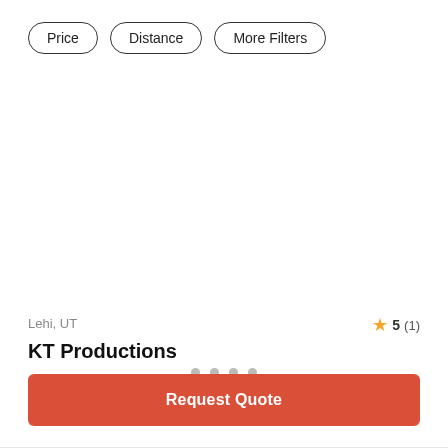Price
Distance
More Filters
[Figure (other): Large white image area with four gray pagination dots at the bottom center]
Lehi, UT
5 (1)
KT Productions
$$ – Affordable
Request Quote